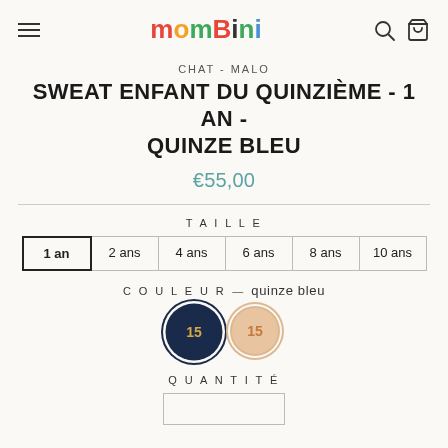mombini
CHAT-MALO
SWEAT ENFANT DU QUINZIÈME - 1 AN - QUINZE BLEU
€55,00
TAILLE
1 an | 2 ans | 4 ans | 6 ans | 8 ans | 10 ans
COULEUR — quinze bleu
QUANTITÉ